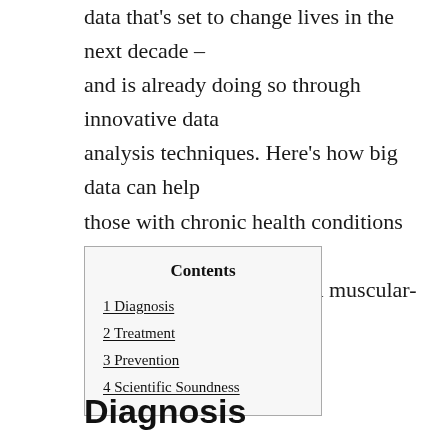data that's set to change lives in the next decade – and is already doing so through innovative data analysis techniques. Here's how big data can help those with chronic health conditions such as hypertension, diabetes, and muscular-skeletal issues.
| Contents |
| --- |
| 1 Diagnosis |
| 2 Treatment |
| 3 Prevention |
| 4 Scientific Soundness |
Diagnosis